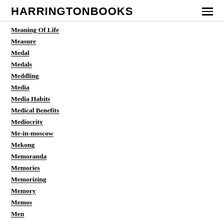HARRINGTONBOOKS
Meaning Of Life
Measure
Medal
Medals
Meddling
Media
Media Habits
Medical Benefits
Mediocrity
Me-in-moscow
Mekong
Memoranda
Memories
Memorizing
Memory
Memos
Men